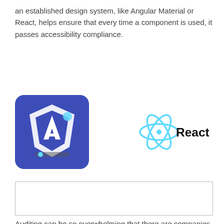an established design system, like Angular Material or React, helps ensure that every time a component is used, it passes accessibility compliance.
[Figure (logo): Angular Material logo: blue rounded square with white angular shield icon and text]
[Figure (logo): React logo: light blue atomic/flower SVG icon with black 'React' text]
[Figure (other): Empty bordered rectangle, placeholder image area]
Auditing can be so overwhelming that there are companies that